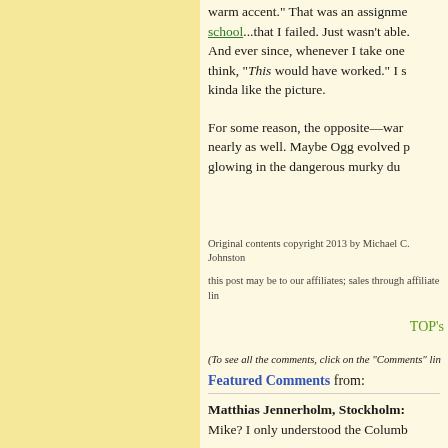warm accent." That was an assignment from school...that I failed. Just wasn't able. And ever since, whenever I take one think, "This would have worked." I s kinda like the picture.
For some reason, the opposite—war nearly as well. Maybe Ogg evolved glowing in the dangerous murky du
Original contents copyright 2013 by Michael C. Johnston
this post may be to our affiliates; sales through affiliate li
TOP's
(To see all the comments, click on the "Comments" lin
Featured Comments from:
Matthias Jennerholm, Stockholm:
Mike? I only understood the Columb